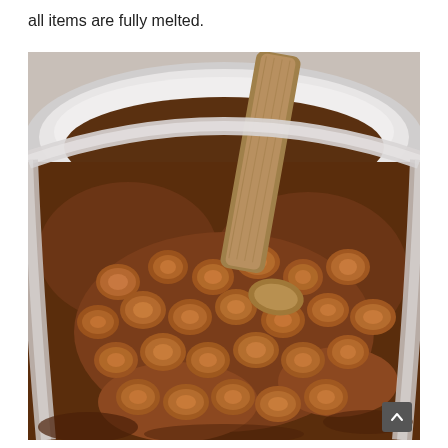all items are fully melted.
[Figure (photo): Close-up photo of chocolate-covered marshmallows being stirred with a wooden spoon in a white mixing bowl. The marshmallows are coated in melted chocolate, creating a rich brown glossy mixture.]